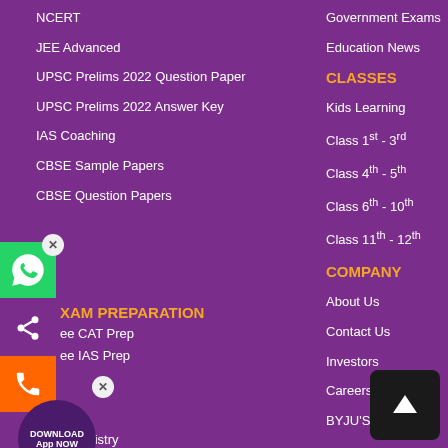NCERT
JEE Advanced
UPSC Prelims 2022 Question Paper
UPSC Prelims 2022 Answer Key
IAS Coaching
CBSE Sample Papers
CBSE Question Papers
Government Exams
Education News
CLASSES
Kids Learning
Class 1st - 3rd
Class 4th - 5th
Class 6th - 10th
Class 11th - 12th
XAM PREPARATION
ee CAT Prep
ee IAS Prep
COMPANY
About Us
Contact Us
Investors
Careers
BYJU'S in Media
Chemistry